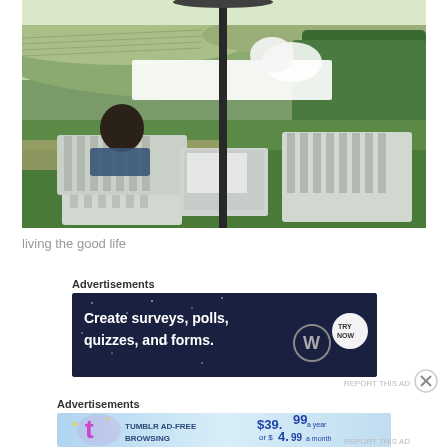[Figure (photo): Outdoor scene at a vineyard. A person sits in a white Adirondack chair with their back to the camera, facing rolling green vineyard hills. A second empty white Adirondack chair is to the right, with a small white table between them holding papers and a drink. A patio umbrella pole rises in the center. A white bench and white flowers are visible in the background. Green hedges line the right side.]
living the good life
Advertisements
[Figure (screenshot): Dark blue advertisement banner for WordPress/WPForms. White bold text reads 'Create surveys, polls, quizzes, and forms.' with a WordPress logo (W in circle) and a round button with 'TRY NOW' text on the right.]
REPORT THIS AD
Advertisements
[Figure (screenshot): Tumblr ad-free browsing advertisement banner. Light blue gradient background. Left side shows the Tumblr logo (pink/purple 't' with sparkles). Text reads 'TUMBLR AD-FREE BROWSING'. Right side shows pricing: '$39.99 a year or $4.99 a month'.]